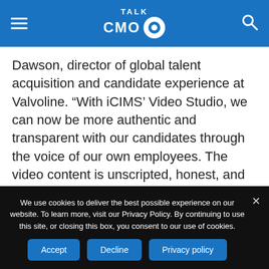TALK CMO
Dawson, director of global talent acquisition and candidate experience at Valvoline. “With iCIMS’ Video Studio, we can now be more authentic and transparent with our candidates through the voice of our own employees. The video content is unscripted, honest, and real. Research shows that video can drive engagement and the amount of time spent on websites. It’s game-changing, and every organization should be thinking about it as part of their talent strategy.”
We use cookies to deliver the best possible experience on our website. To learn more, visit our Privacy Policy. By continuing to use this site, or closing this box, you consent to our use of cookies.